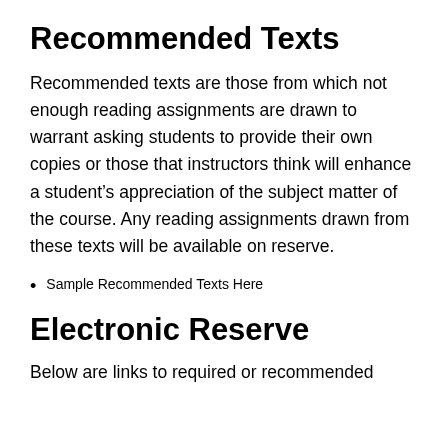Recommended Texts
Recommended texts are those from which not enough reading assignments are drawn to warrant asking students to provide their own copies or those that instructors think will enhance a student’s appreciation of the subject matter of the course. Any reading assignments drawn from these texts will be available on reserve.
Sample Recommended Texts Here
Electronic Reserve
Below are links to required or recommended